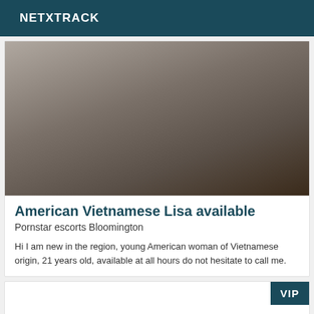NETXTRACK
[Figure (photo): A young woman in black lace lingerie and stockings sitting on a white bed]
American Vietnamese Lisa available
Pornstar escorts Bloomington
Hi I am new in the region, young American woman of Vietnamese origin, 21 years old, available at all hours do not hesitate to call me.
VIP